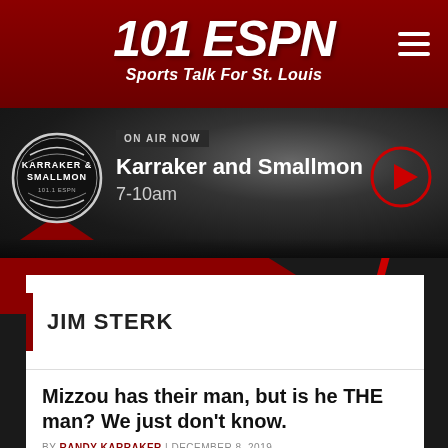101 ESPN Sports Talk For St. Louis
[Figure (screenshot): On Air Now banner showing Karraker and Smallmon radio show, 7-10am, with play button]
JIM STERK
Mizzou has their man, but is he THE man? We just don't know.
BY RANDY KARRAKER | DECEMBER 8, 2019
Replace Odom? Not so fast, my